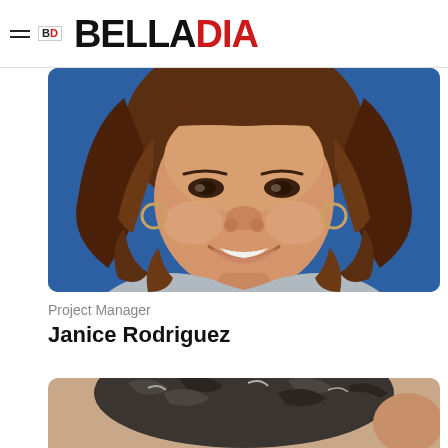BELLADIA
[Figure (photo): Smiling woman with long brown/auburn hair, wearing hoop earrings and a grey top, photographed against a blue background. Profile for Janice Rodriguez.]
Project Manager
Janice Rodriguez
[Figure (photo): Top of a person's head with dark curly/wavy grey-streaked hair, partially visible at the bottom of the page.]